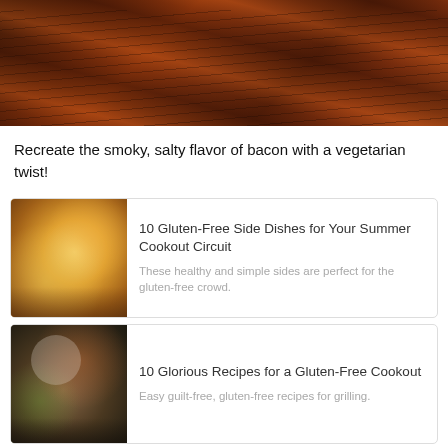[Figure (photo): Close-up photo of seasoned, spiced strips of eggplant or portobello mushroom on parchment paper, resembling bacon strips with dark reddish-brown spice crust]
Recreate the smoky, salty flavor of bacon with a vegetarian twist!
[Figure (photo): Photo of a colorful summer salad with roasted squash/sweet potato cubes, corn, herbs, and vegetables on a plate]
10 Gluten-Free Side Dishes for Your Summer Cookout Circuit
These healthy and simple sides are perfect for the gluten-free crowd.
[Figure (photo): Photo of grilled vegetable skewers with zucchini, red onion, bell peppers, and other vegetables on a plate]
10 Glorious Recipes for a Gluten-Free Cookout
Easy guilt-free, gluten-free recipes for grilling.